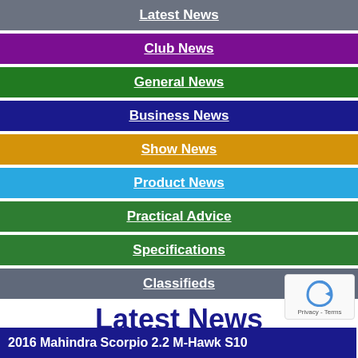Latest News
Club News
General News
Business News
Show News
Product News
Practical Advice
Specifications
Classifieds
Latest News
Share | Share
2016 Mahindra Scorpio 2.2 M-Hawk S10